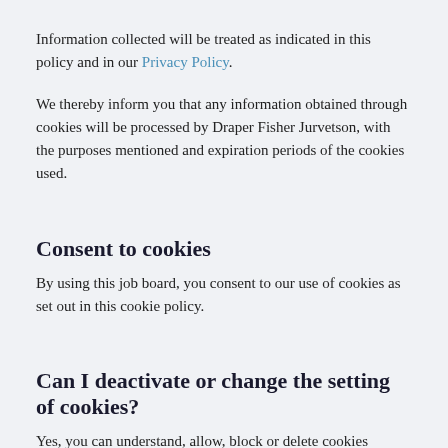Information collected will be treated as indicated in this policy and in our Privacy Policy.
We thereby inform you that any information obtained through cookies will be processed by Draper Fisher Jurvetson, with the purposes mentioned and expiration periods of the cookies used.
Consent to cookies
By using this job board, you consent to our use of cookies as set out in this cookie policy.
Can I deactivate or change the setting of cookies?
Yes, you can understand, allow, block or delete cookies installed through your browser settings. Below you can find information about how to do this on your browser: